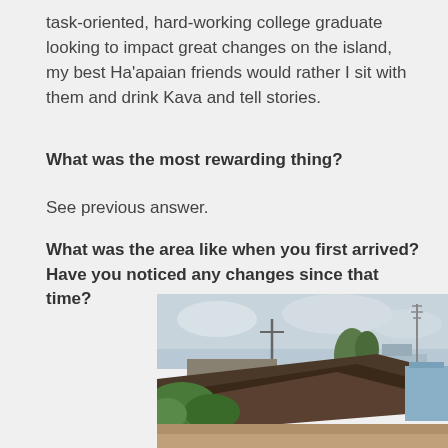task-oriented, hard-working college graduate looking to impact great changes on the island, my best Ha'apaian friends would rather I sit with them and drink Kava and tell stories.
What was the most rewarding thing?
See previous answer.
What was the area like when you first arrived?  Have you noticed any changes since that time?
[Figure (photo): A photograph showing storm damage with a collapsed or blown-off roof structure in the foreground, utility poles, palm trees, and blue buildings in the background under an overcast sky.]